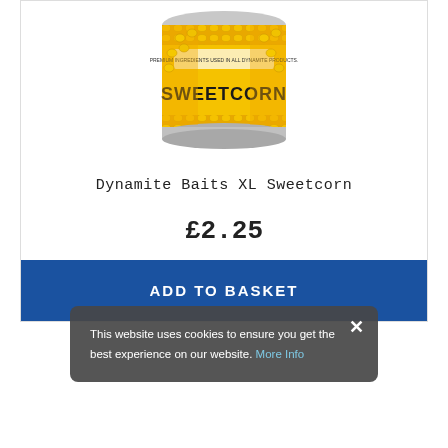[Figure (photo): A tin can of Dynamite Baits XL Sweetcorn fish bait, showing yellow sweetcorn kernels on the label with the word SWEETCORN in large bold letters.]
Dynamite Baits XL Sweetcorn
£2.25
ADD TO BASKET
This website uses cookies to ensure you get the best experience on our website. More Info